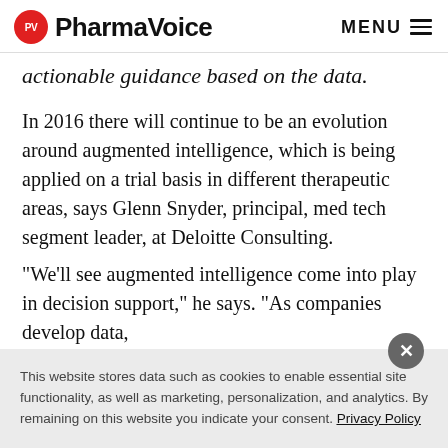PV PharmaVoice  MENU
actionable guidance based on the data.
In 2016 there will continue to be an evolution around augmented intelligence, which is being applied on a trial basis in different therapeutic areas, says Glenn Snyder, principal, med tech segment leader, at Deloitte Consulting.
“We’ll see augmented intelligence come into play in decision support,” he says. “As companies develop data,
This website stores data such as cookies to enable essential site functionality, as well as marketing, personalization, and analytics. By remaining on this website you indicate your consent. Privacy Policy